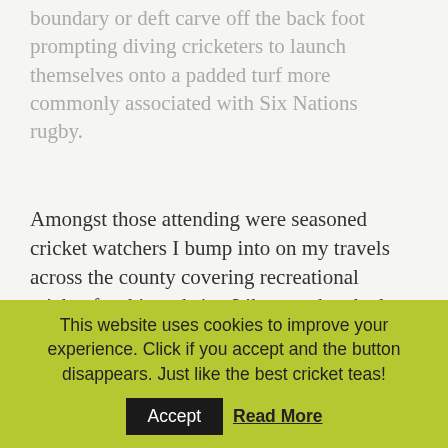boundary or deft carve off the back foot prompting diving cricketers to launch themselves onto a padded turf more commonly associated with Six Nations rugby.
Amongst those attending were seasoned cricket watchers I bump into on my travels across the county covering recreational cricket for this website. Like me, they had sniffed out one of the very first outdoor fixtures anywhere in the country this year.
This website uses cookies to improve your experience. Click if you accept and the button disappears. Just like the best cricket teas! Accept Read More